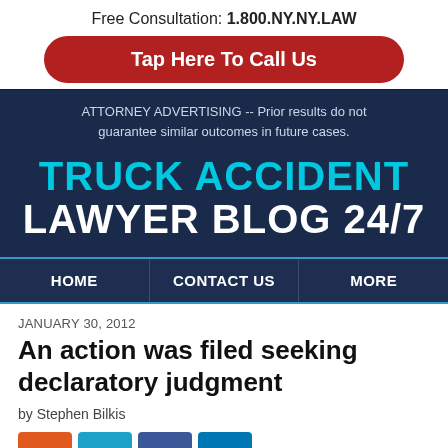Free Consultation: 1.800.NY.NY.LAW
Tap Here To Call Us
ATTORNEY ADVERTISING -- Prior results do not guarantee similar outcomes in future cases.
TRUCK ACCIDENT LAWYER BLOG 24/7
HOME   CONTACT US   MORE
JANUARY 30, 2012
An action was filed seeking declaratory judgment
by Stephen Bilkis
[Figure (infographic): Social sharing buttons: orange, teal, blue, light blue]